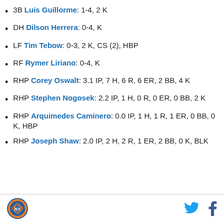3B Luis Guillorme: 1-4, 2 K
DH Dilson Herrera: 0-4, K
LF Tim Tebow: 0-3, 2 K, CS (2), HBP
RF Rymer Liriano: 0-4, K
RHP Corey Oswalt: 3.1 IP, 7 H, 6 R, 6 ER, 2 BB, 4 K
RHP Stephen Nogosek: 2.2 IP, 1 H, 0 R, 0 ER, 0 BB, 2 K
RHP Arquimedes Caminero: 0.0 IP, 1 H, 1 R, 1 ER, 0 BB, 0 K, HBP
RHP Joseph Shaw: 2.0 IP, 2 H, 2 R, 1 ER, 2 BB, 0 K, BLK
[Figure (logo): Baseball team logo, circular, orange and blue]
[Figure (logo): Twitter bird icon in blue]
[Figure (logo): Facebook f icon in dark blue]